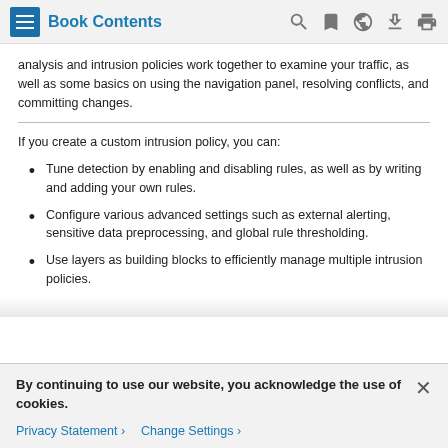Book Contents
analysis and intrusion policies work together to examine your traffic, as well as some basics on using the navigation panel, resolving conflicts, and committing changes.
If you create a custom intrusion policy, you can:
Tune detection by enabling and disabling rules, as well as by writing and adding your own rules.
Configure various advanced settings such as external alerting, sensitive data preprocessing, and global rule thresholding.
Use layers as building blocks to efficiently manage multiple intrusion policies.
By continuing to use our website, you acknowledge the use of cookies.
Privacy Statement > Change Settings >